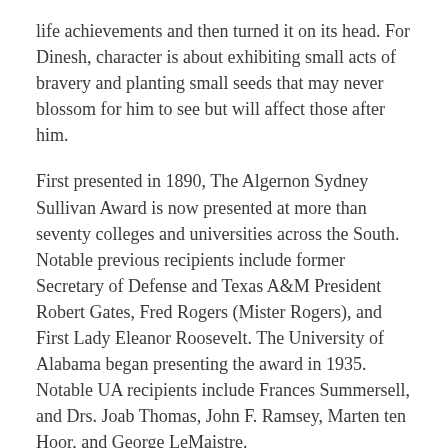life achievements and then turned it on its head. For Dinesh, character is about exhibiting small acts of bravery and planting small seeds that may never blossom for him to see but will affect those after him.
First presented in 1890, The Algernon Sydney Sullivan Award is now presented at more than seventy colleges and universities across the South. Notable previous recipients include former Secretary of Defense and Texas A&M President Robert Gates, Fred Rogers (Mister Rogers), and First Lady Eleanor Roosevelt. The University of Alabama began presenting the award in 1935. Notable UA recipients include Frances Summersell, and Drs. Joab Thomas, John F. Ramsey, Marten ten Hoor, and George LeMaistre.
Newsletter
Algernon Sydney Sullivan Award, Premier Award, Tejas Dinesh